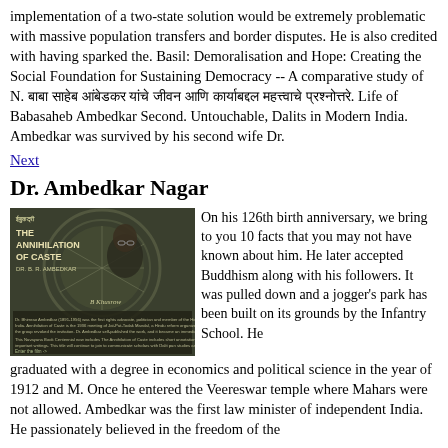implementation of a two-state solution would be extremely problematic with massive population transfers and border disputes. He is also credited with having sparked the. Basil: Demoralisation and Hope: Creating the Social Foundation for Sustaining Democracy -- A comparative study of N. [Hindi text]. Life of Babasaheb Ambedkar Second. Untouchable, Dalits in Modern India. Ambedkar was survived by his second wife Dr.
Next
Dr. Ambedkar Nagar
[Figure (photo): Book cover image: The Annihilation of Caste by Dr. B. R. Ambedkar, with a portrait of Ambedkar and decorative background]
On his 126th birth anniversary, we bring to you 10 facts that you may not have known about him. He later accepted Buddhism along with his followers. It was pulled down and a jogger's park has been built on its grounds by the Infantry School. He graduated with a degree in economics and political science in the year of 1912 and M. Once he entered the Veereswar temple where Mahars were not allowed. Ambedkar was the first law minister of independent India. He passionately believed in the freedom of the